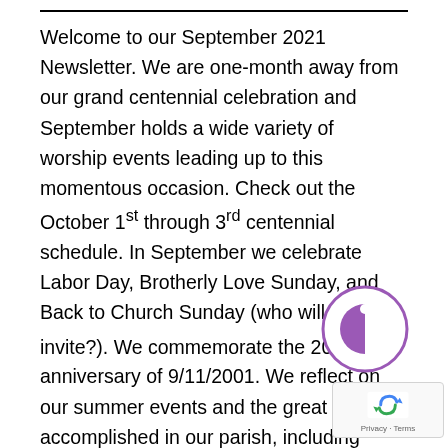Welcome to our September 2021 Newsletter. We are one-month away from our grand centennial celebration and September holds a wide variety of worship events leading up to this momentous occasion. Check out the October 1st through 3rd centennial schedule. In September we celebrate Labor Day, Brotherly Love Sunday, and Back to Church Sunday (who will you invite?). We commemorate the 20th anniversary of 9/11/2001. We reflect on our summer events and the great things accomplished in our parish, including astounding generosity. Ready for coffee ho[ur] back starting September 12th. Ready for da[ily] Masses? They are returning to parish life. Pray in advance of our Diocesan Synod and reflect on walking with God and each other.
[Figure (logo): Purple circular logo with a stylized letter C or Pac-Man-like symbol inside]
[Figure (logo): Google reCAPTCHA badge with blue arrow icon and Privacy/Terms text]